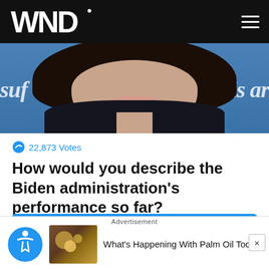WND
[Figure (photo): Close-up photo of a smiling woman with dark curly hair and dark jacket, in front of a blue banner with partial text 'suf' and 'is ar']
22,873 Votes
How would you describe the Biden administration's performance so far?
Great
Good
Bad
Advertisement
What's Happening With Palm Oil Today